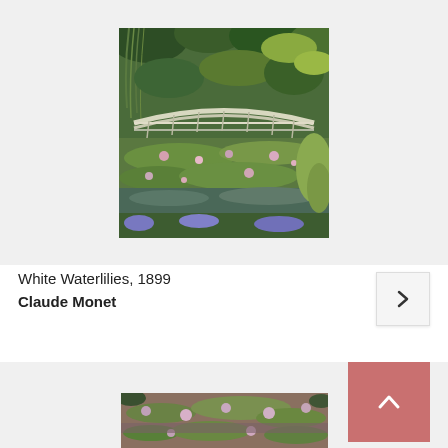[Figure (photo): Claude Monet's White Waterlilies painting showing a Japanese bridge over a lily pond surrounded by lush green vegetation]
White Waterlilies, 1899
Claude Monet
[Figure (photo): Partial view of another Claude Monet painting showing colorful water lilies on a pond surface, partially cropped]